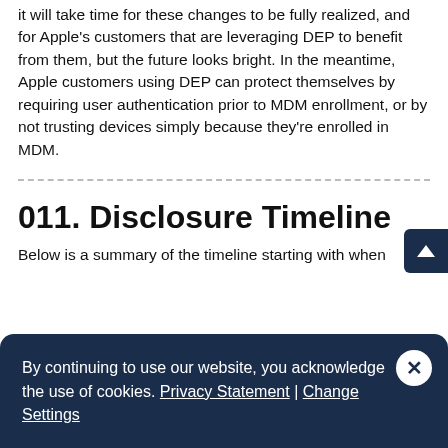It will take time for these changes to be fully realized, and for Apple's customers that are leveraging DEP to benefit from them, but the future looks bright. In the meantime, Apple customers using DEP can protect themselves by requiring user authentication prior to MDM enrollment, or by not trusting devices simply because they're enrolled in MDM.
011. Disclosure Timeline
Below is a summary of the timeline starting with when
By continuing to use our website, you acknowledge the use of cookies. Privacy Statement | Change Settings